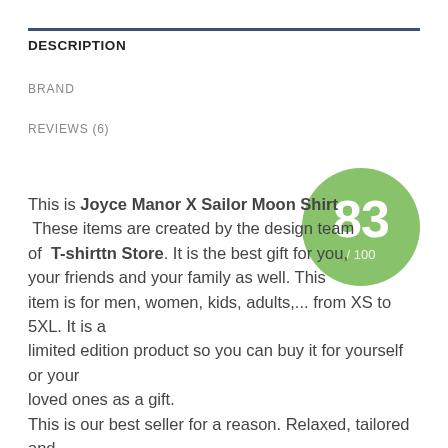DESCRIPTION
BRAND
REVIEWS (6)
[Figure (infographic): Green circular score badge showing 83 / 100]
This is Joyce Manor X Sailor Moon Shirt These items are created by the design team of T-shirttn Store. It is the best gift for you, your friends and your family as well. This item is for men, women, kids, adults,... from XS to 5XL. It is a limited edition product so you can buy it for yourself or your loved ones as a gift.
This is our best seller for a reason. Relaxed, tailored and ultra-comfortable, you'll love the way you look in this